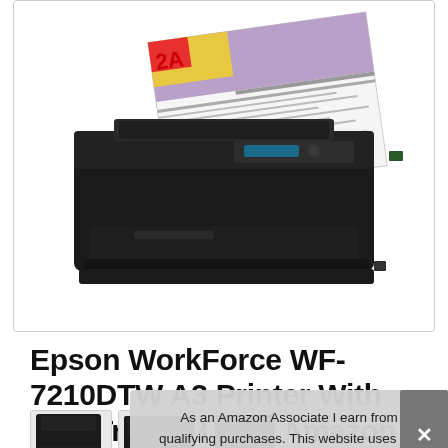[Figure (photo): Photo of an Epson WorkForce WF-7210DTW A3 inkjet printer in black, shown from the front with paper loaded in the top tray showing a colorful magazine-style printout]
Epson WorkForce WF-7210DTW A3 Printer With Two Trays, Black, Amazon Da...
As an Amazon Associate I earn from qualifying purchases. This website uses the only necessary cookies to ensure you get the best experience on our website. More information
[Figure (photo): Thumbnail images of the Epson printer from different angles]